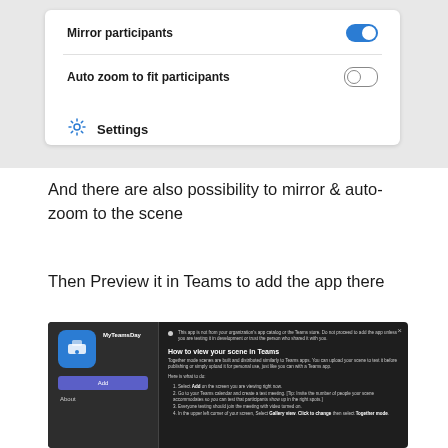[Figure (screenshot): Settings panel showing 'Mirror participants' toggle (on/blue) and 'Auto zoom to fit participants' toggle (off), plus Settings gear icon below]
And there are also possibility to mirror & auto-zoom to the scene
Then Preview it in Teams to add the app there
[Figure (screenshot): Microsoft Teams app preview dialog for 'MyTeamsDay' app with dark background showing 'How to view your scene in Teams' instructions including steps to add and test the together mode scene]